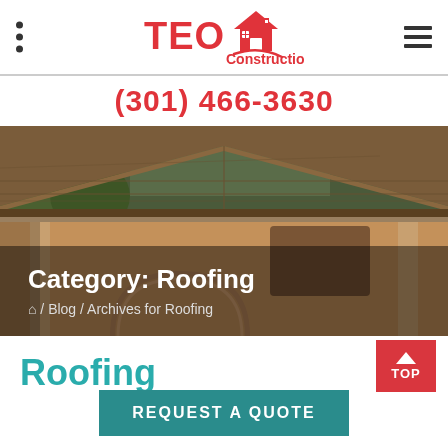TEO Construction
(301) 466-3630
[Figure (photo): Hero image of a residential roofing with brown asphalt shingles and a tan stucco facade with an arched entry]
Category: Roofing
⌂ / Blog / Archives for Roofing
Roofing
REQUEST A QUOTE